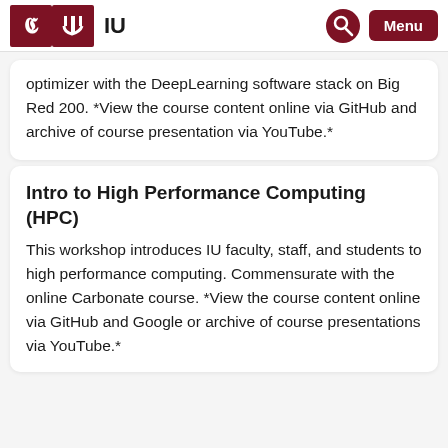IU
optimizer with the DeepLearning software stack on Big Red 200. *View the course content online via GitHub and archive of course presentation via YouTube.*
Intro to High Performance Computing (HPC)
This workshop introduces IU faculty, staff, and students to high performance computing. Commensurate with the online Carbonate course. *View the course content online via GitHub and Google or archive of course presentations via YouTube.*